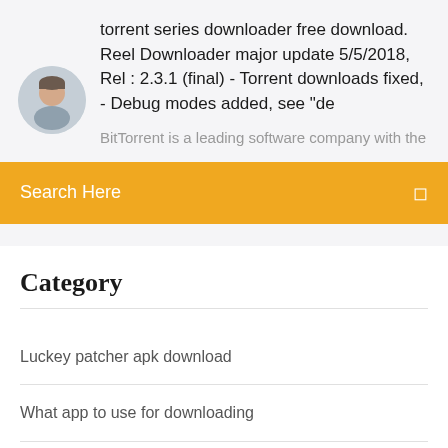torrent series downloader free download. Reel Downloader major update 5/5/2018, Rel : 2.3.1 (final) - Torrent downloads fixed, - Debug modes added, see "de
BitTorrent is a leading software company with the
[Figure (photo): Circular avatar photo of a man]
Search Here
Category
Luckey patcher apk download
What app to use for downloading
Free jpg download for windows 10